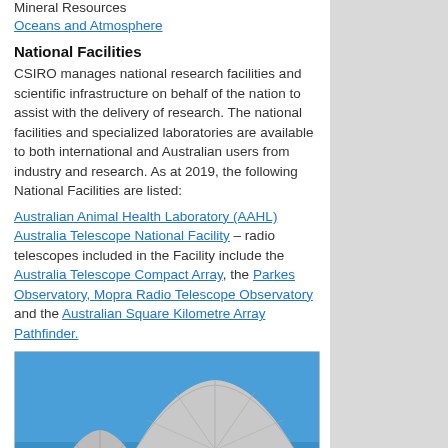Mineral Resources
Oceans and Atmosphere
National Facilities
CSIRO manages national research facilities and scientific infrastructure on behalf of the nation to assist with the delivery of research. The national facilities and specialized laboratories are available to both international and Australian users from industry and research. As at 2019, the following National Facilities are listed:
Australian Animal Health Laboratory (AAHL)
Australia Telescope National Facility – radio telescopes included in the Facility include the Australia Telescope Compact Array, the Parkes Observatory, Mopra Radio Telescope Observatory and the Australian Square Kilometre Array Pathfinder.
[Figure (photo): A large radio telescope dish against a blue sky, likely the Parkes Observatory or similar CSIRO facility.]